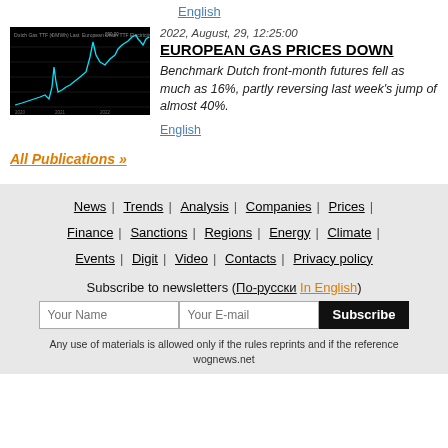English
[Figure (line-chart): Dark background line chart showing European gas price futures trend over time, with sharp spike visible]
2022, August, 29, 12:25:00
EUROPEAN GAS PRICES DOWN
Benchmark Dutch front-month futures fell as much as 16%, partly reversing last week's jump of almost 40%.
English
All Publications »
News | Trends | Analysis | Companies | Prices | Finance | Sanctions | Regions | Energy | Climate | Events | Digit | Video | Contacts | Privacy policy
Subscribe to newsletters (По-русски In English)
Any use of materials is allowed only if the rules reprints and if the reference wognews.net